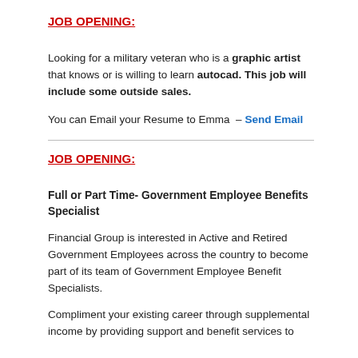JOB OPENING:
Looking for a military veteran who is a graphic artist that knows or is willing to learn autocad. This job will include some outside sales.
You can Email your Resume to Emma  – Send Email
JOB OPENING:
Full or Part Time- Government Employee Benefits Specialist
Financial Group is interested in Active and Retired Government Employees across the country to become part of its team of Government Employee Benefit Specialists.
Compliment your existing career through supplemental income by providing support and benefit services to